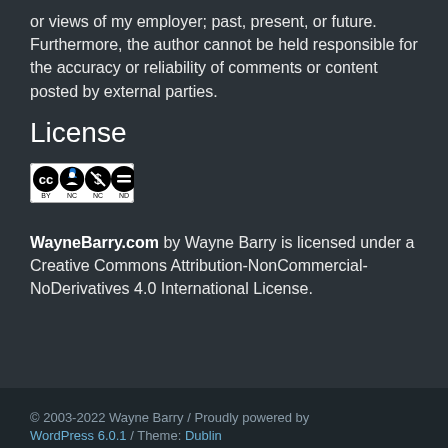or views of my employer; past, present, or future. Furthermore, the author cannot be held responsible for the accuracy or reliability of comments or content posted by external parties.
License
[Figure (logo): Creative Commons BY NC ND license badge]
WayneBarry.com by Wayne Barry is licensed under a Creative Commons Attribution-NonCommercial-NoDerivatives 4.0 International License.
© 2003-2022 Wayne Barry / Proudly powered by WordPress 6.0.1 / Theme: Dublin